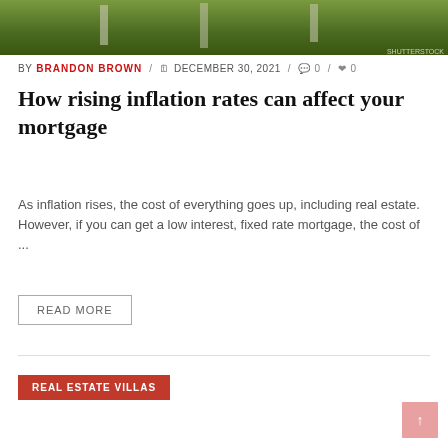[Figure (photo): Top portion of a photo showing green outdoor scenery, likely a real estate or garden setting]
BY BRANDON BROWN / DECEMBER 30, 2021 / 0 / 0
How rising inflation rates can affect your mortgage
As inflation rises, the cost of everything goes up, including real estate. However, if you can get a low interest, fixed rate mortgage, the cost of ...
READ MORE
REAL ESTATE VILLAS